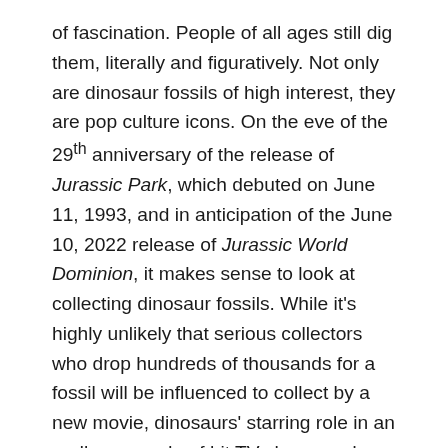of fascination. People of all ages still dig them, literally and figuratively. Not only are dinosaur fossils of high interest, they are pop culture icons. On the eve of the 29th anniversary of the release of Jurassic Park, which debuted on June 11, 1993, and in anticipation of the June 10, 2022 release of Jurassic World Dominion, it makes sense to look at collecting dinosaur fossils. While it's highly unlikely that serious collectors who drop hundreds of thousands for a fossil will be influenced to collect by a new movie, dinosaurs' starring role in an endless parade of hit TV shows and movies should encourage the next generation of natural history collectors.
It's not as if the market needs any help to stay strong; committed collectors are already